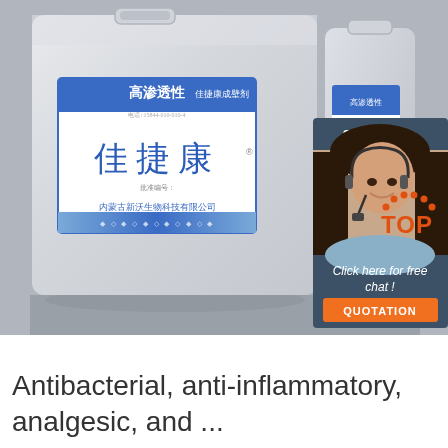[Figure (photo): Two large white plastic containers/drums with Chinese language product labels (高渗透性佳捷康) and a customer service chat widget overlay showing a woman with headset, '24/7 Online' text, 'Click here for free chat!' and an orange QUOTATION button. A 'TOP' logo badge appears in the lower right of the image area.]
Antibacterial, anti-inflammatory, analgesic, and ...